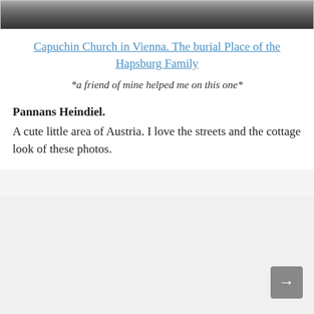[Figure (photo): Top portion of a black-and-white photograph showing cars and people, partially cropped]
Capuchin Church in Vienna. The burial Place of the Hapsburg Family
*a friend of mine helped me on this one*
Pannans Heindiel.
A cute little area of Austria. I love the streets and the cottage look of these photos.